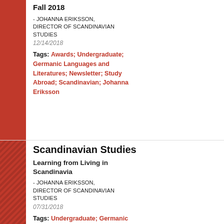Fall 2018
- JOHANNA ERIKSSON, DIRECTOR OF SCANDINAVIAN STUDIES
12/14/2018
Tags: Awards; Undergraduate; Germanic Languages and Literatures; Newsletter; Study Abroad; Scandinavian; Johanna Eriksson
Scandinavian Studies
Learning from Living in Scandinavia
- JOHANNA ERIKSSON, DIRECTOR OF SCANDINAVIAN STUDIES
07/31/2018
Tags: Undergraduate; Germanic Languages and Literatures;